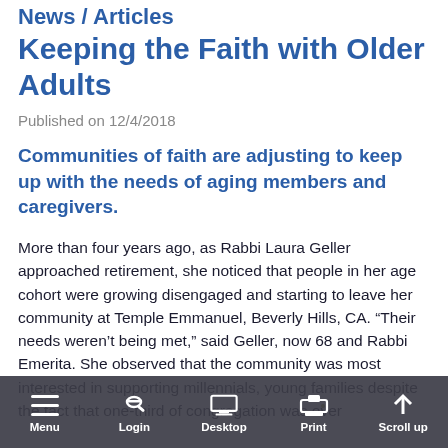News / Articles
Keeping the Faith with Older Adults
Published on 12/4/2018
Communities of faith are adjusting to keep up with the needs of aging members and caregivers.
More than four years ago, as Rabbi Laura Geller approached retirement, she noticed that people in her age cohort were growing disengaged and starting to leave her community at Temple Emmanuel, Beverly Hills, CA. “Their needs weren’t being met,” said Geller, now 68 and Rabbi Emerita. She observed that the community was most interested in supporting millennials, young families despite the fact that one-third of congregation was over